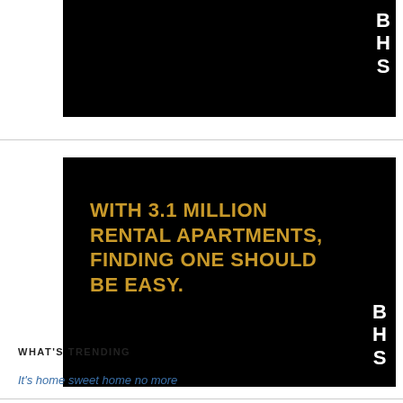[Figure (illustration): Partial black banner with white BHS letters stacked vertically on the right side, cropped at top]
[Figure (illustration): Black rectangular advertisement with gold bold uppercase text: 'WITH 3.1 MILLION RENTAL APARTMENTS, FINDING ONE SHOULD BE EASY.' and white stacked BHS letters in bottom right corner]
WHAT'S TRENDING
It's home sweet home no more